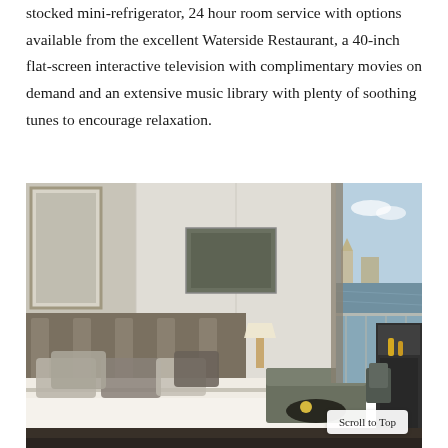stocked mini-refrigerator, 24 hour room service with options available from the excellent Waterside Restaurant, a 40-inch flat-screen interactive television with complimentary movies on demand and an extensive music library with plenty of soothing tunes to encourage relaxation.
[Figure (photo): Luxury cruise ship cabin interior showing a large white bed with grey pillows, an upholstered headboard, a sitting area with a sofa, and a balcony with a scenic river view and city landmarks in the background. A vanity/desk area is visible on the right.]